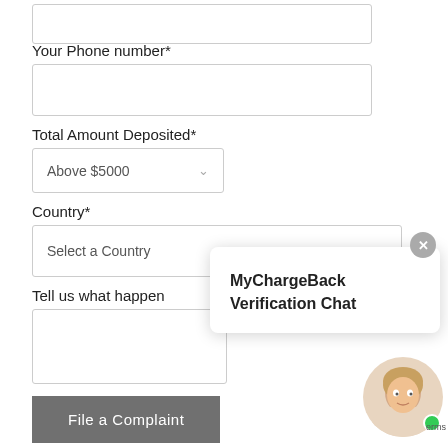[Figure (screenshot): Partial web form showing phone number input field (empty), Total Amount Deposited dropdown (Above $5000), Country dropdown (Select a Country), Tell us what happened textarea, and File a Complaint submit button. A MyChargeBack Verification Chat popup overlays the right side with a close button and avatar with green online indicator.]
Your Phone number*
Total Amount Deposited*
Above $5000
Country*
Select a Country
Tell us what happen
MyChargeBack Verification Chat
File a Complaint